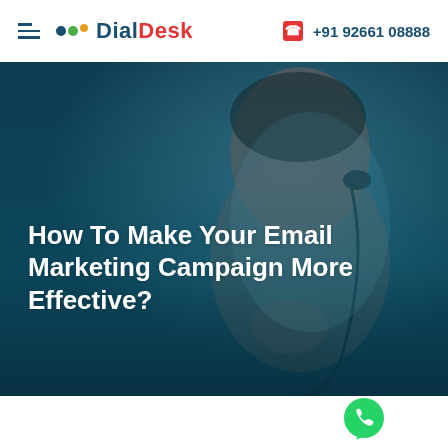DialDesk | +91 92661 08888
[Figure (photo): Woman wearing a headset, looking upward, with a teal/dark blue color overlay. Used as hero background image for an email marketing article.]
How To Make Your Email Marketing Campaign More Effective?
[Figure (illustration): WhatsApp icon (green circle with white phone handset) in the lower right area of the page.]